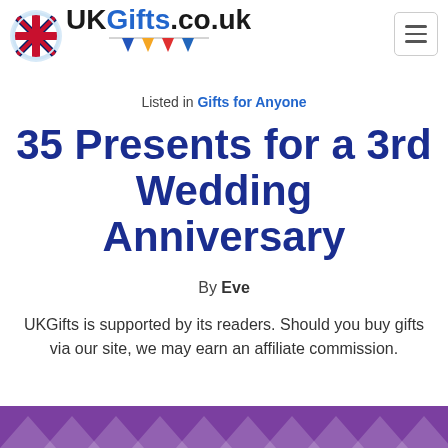[Figure (logo): UKGifts.co.uk logo with Union Jack circle icon and colourful bunting decoration, plus hamburger menu button]
Listed in Gifts for Anyone
35 Presents for a 3rd Wedding Anniversary
By Eve
UKGifts is supported by its readers. Should you buy gifts via our site, we may earn an affiliate commission.
[Figure (illustration): Purple decorative banner with white triangle/chevron patterns at the bottom of the page]